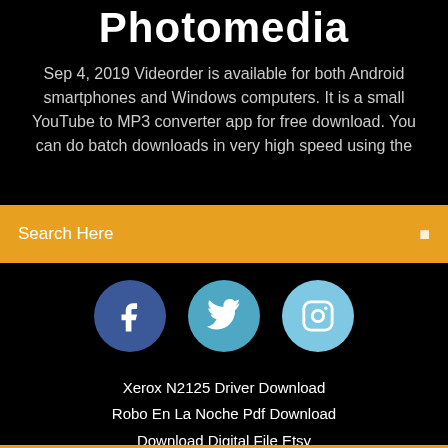Photomedia
Sep 4, 2019 Videorder is available for both Android smartphones and Windows computers. It is a small YouTube to MP3 converter app for free download. You can do batch downloads in very high speed using the
Search Here
[Figure (illustration): Three social media icon buttons: Facebook (dark blue circle with 'f'), Twitter (teal circle with bird icon), Instagram (light blue circle with camera icon)]
Xerox N2125 Driver Download
Robo En La Noche Pdf Download
Download Digital File Etsy
Android On Desktop Download